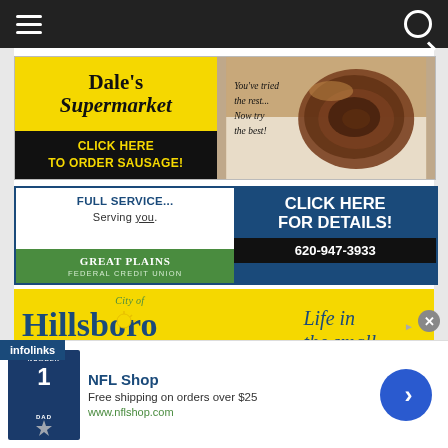Navigation bar with hamburger menu and search icon
[Figure (illustration): Dale's Supermarket advertisement. Left side: yellow background with 'Dale's Supermarket' in bold serif font, black background with yellow text 'CLICK HERE to order sausage!'. Right side: photo of coiled sausage with text 'You've tried the rest... Now try the best!']
[Figure (illustration): Great Plains Federal Credit Union advertisement. Left side: 'FULL SERVICE... Serving you.' in navy text, green logo box with 'GREAT PLAINS FEDERAL CREDIT UNION'. Right side: navy background with 'CLICK HERE FOR DETAILS!' and '620-947-3933']
[Figure (illustration): City of Hillsboro advertisement. Yellow background with 'City of' in green italic, 'Hillsboro' in large navy serif font. Right side: 'Life in the small' in navy italic serif.]
[Figure (illustration): NFL Shop bottom banner ad. Shows Dallas Cowboys shirt graphic. Text: 'NFL Shop', 'Free shipping on orders over $25', 'www.nflshop.com'. Blue arrow button on right. Close X button. Infolinks label in blue.]